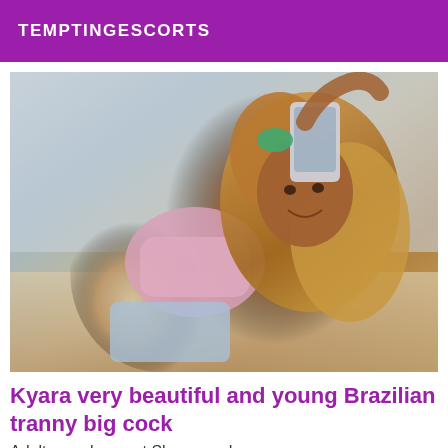TEMPTINGESCORTS
[Figure (photo): A person taking a mirror selfie, wearing a pink gingham tied top and light blue shorts, with curly highlighted hair and a green hair accessory, holding a smartphone.]
Kyara very beautiful and young Brazilian tranny big cock
Adult search escort Shorewood